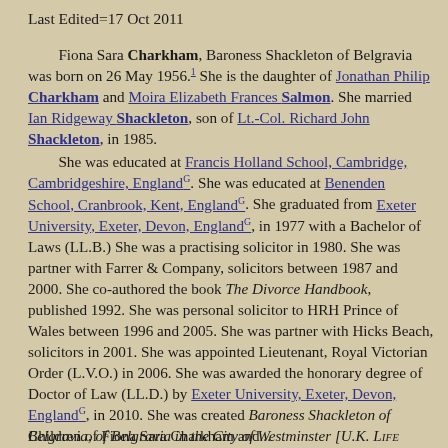Last Edited=17 Oct 2011
Fiona Sara Charkham, Baroness Shackleton of Belgravia was born on 26 May 1956.1 She is the daughter of Jonathan Philip Charkham and Moira Elizabeth Frances Salmon. She married Ian Ridgeway Shackleton, son of Lt.-Col. Richard John Shackleton, in 1985. She was educated at Francis Holland School, Cambridge, Cambridgeshire, EnglandG. She was educated at Benenden School, Cranbrook, Kent, EnglandG. She graduated from Exeter University, Exeter, Devon, EnglandG, in 1977 with a Bachelor of Laws (LL.B.) She was a practising solicitor in 1980. She was partner with Farrer & Company, solicitors between 1987 and 2000. She co-authored the book The Divorce Handbook, published 1992. She was personal solicitor to HRH Prince of Wales between 1996 and 2005. She was partner with Hicks Beach, solicitors in 2001. She was appointed Lieutenant, Royal Victorian Order (L.V.O.) in 2006. She was awarded the honorary degree of Doctor of Law (LL.D.) by Exeter University, Exeter, Devon, EnglandG, in 2010. She was created Baroness Shackleton of Belgravia, of Belgravia in the City of Westminster [U.K. Life Peer] on 21 December 2010.2
Children of Fiona Sara Charkham and...